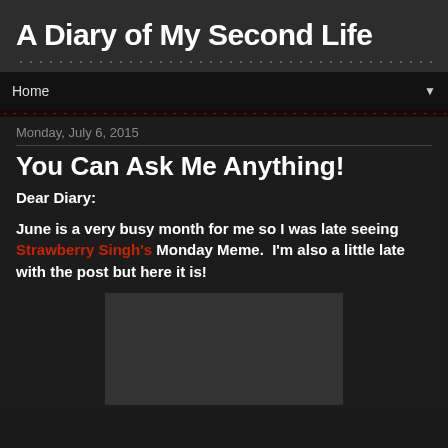A Diary of My Second Life
Home
Monday, July 6, 2015
You Can Ask Me Anything!
Dear Diary:
June is a very busy month for me so I was late seeing Strawberry Singh's Monday Meme.  I'm also a little late with the post but here it is!
[Figure (photo): Dark grey image placeholder at the bottom of the page]